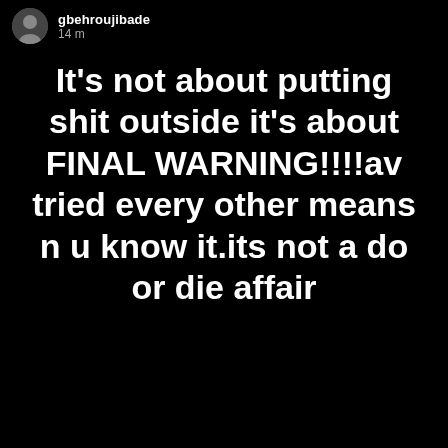gbehroujibade 14m
It's not about putting shit outside it's about FINAL WARNING!!!!av tried every other means n u know it.its not a do or die affair